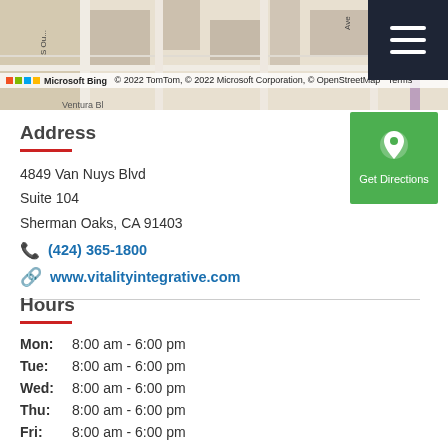[Figure (map): Bing Maps screenshot showing street map of Sherman Oaks area with copyright notice: © 2022 TomTom, © 2022 Microsoft Corporation, © OpenStreetMap, Terms]
Address
4849 Van Nuys Blvd
Suite 104
Sherman Oaks, CA 91403
(424) 365-1800
www.vitalityintegrative.com
Hours
Mon: 8:00 am - 6:00 pm
Tue: 8:00 am - 6:00 pm
Wed: 8:00 am - 6:00 pm
Thu: 8:00 am - 6:00 pm
Fri: 8:00 am - 6:00 pm
Sat: 8:00 am - 12:00 pm